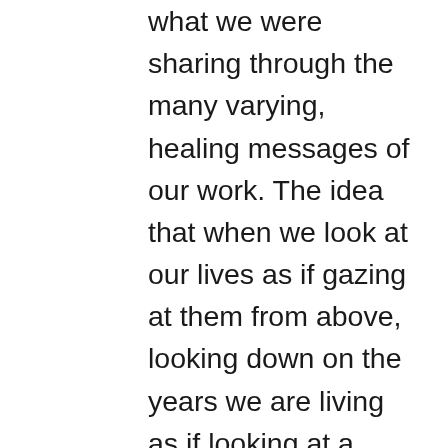what we were sharing through the many varying, healing messages of our work. The idea that when we look at our lives as if gazing at them from above, looking down on the years we are living as if looking at a path we have traversed and continue to travel, wherever there have been difficulties, or “imperfections,” we can see that there was a beautiful opportunity for us to grow from that tragedy, or loss, or hardship. There is always a way that we can turn to each other and to ourselves and say, “What can I learn from this?” “How can this make me into the best possible version of myself?”